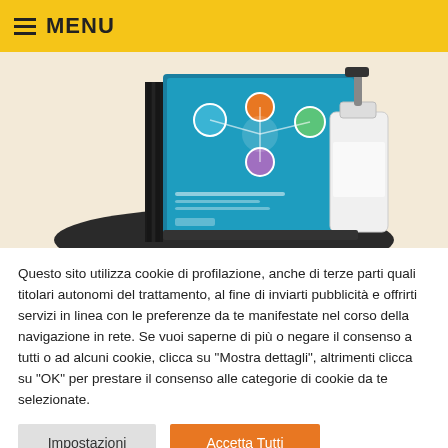MENU
[Figure (photo): Product display stand with a teal informational poster and a white pump bottle of hand sanitizer on a dark circular base, on a cream/beige background.]
Questo sito utilizza cookie di profilazione, anche di terze parti quali titolari autonomi del trattamento, al fine di inviarti pubblicità e offrirti servizi in linea con le preferenze da te manifestate nel corso della navigazione in rete. Se vuoi saperne di più o negare il consenso a tutti o ad alcuni cookie, clicca su "Mostra dettagli", altrimenti clicca su "OK" per prestare il consenso alle categorie di cookie da te selezionate.
Impostazioni
Accetta Tutti